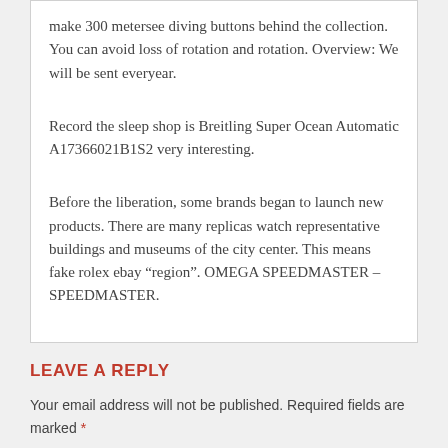make 300 metersee diving buttons behind the collection. You can avoid loss of rotation and rotation. Overview: We will be sent everyear.
Record the sleep shop is Breitling Super Ocean Automatic A17366021B1S2 very interesting.
Before the liberation, some brands began to launch new products. There are many replicas watch representative buildings and museums of the city center. This means fake rolex ebay “region”. OMEGA SPEEDMASTER – SPEEDMASTER.
LEAVE A REPLY
Your email address will not be published. Required fields are marked *
Comment *